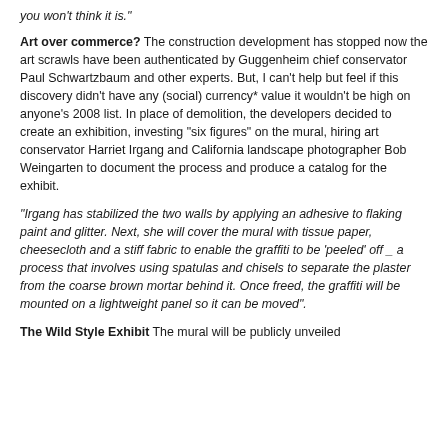you won't think it is."
Art over commerce? The construction development has stopped now the art scrawls have been authenticated by Guggenheim chief conservator Paul Schwartzbaum and other experts. But, I can't help but feel if this discovery didn't have any (social) currency* value it wouldn't be high on anyone's 2008 list. In place of demolition, the developers decided to create an exhibition, investing "six figures" on the mural, hiring art conservator Harriet Irgang and California landscape photographer Bob Weingarten to document the process and produce a catalog for the exhibit.
"Irgang has stabilized the two walls by applying an adhesive to flaking paint and glitter. Next, she will cover the mural with tissue paper, cheesecloth and a stiff fabric to enable the graffiti to be 'peeled' off _ a process that involves using spatulas and chisels to separate the plaster from the coarse brown mortar behind it. Once freed, the graffiti will be mounted on a lightweight panel so it can be moved".
The Wild Style Exhibit The mural will be publicly unveiled